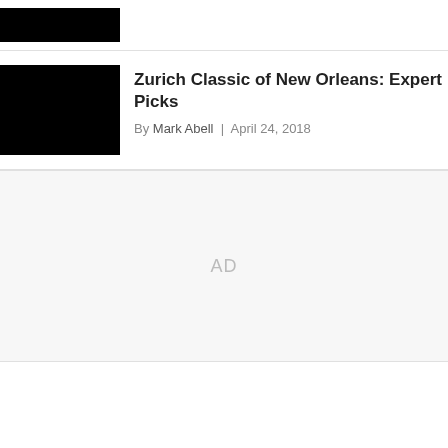[Figure (photo): Redacted black image block at top left]
[Figure (photo): Redacted black image block beside article title]
Zurich Classic of New Orleans: Expert Picks
By Mark Abell | April 24, 2018
AD